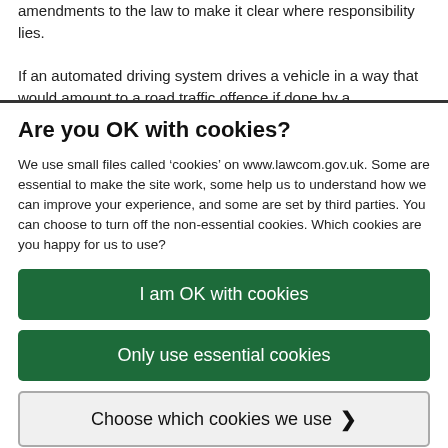amendments to the law to make it clear where responsibility lies.
If an automated driving system drives a vehicle in a way that would amount to a road traffic offence if done by a
Are you OK with cookies?
We use small files called ‘cookies’ on www.lawcom.gov.uk. Some are essential to make the site work, some help us to understand how we can improve your experience, and some are set by third parties. You can choose to turn off the non-essential cookies. Which cookies are you happy for us to use?
I am OK with cookies
Only use essential cookies
Choose which cookies we use >